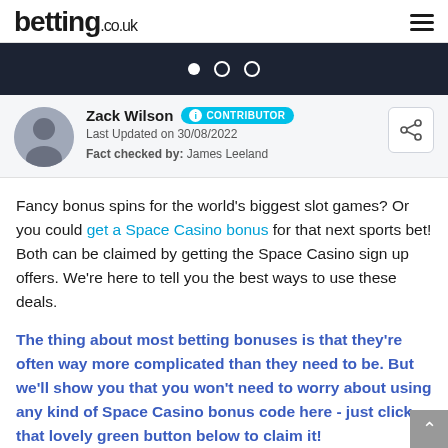betting.co.uk
Zack Wilson CONTRIBUTOR Last Updated on 30/08/2022 Fact checked by: James Leeland
Fancy bonus spins for the world's biggest slot games? Or you could get a Space Casino bonus for that next sports bet! Both can be claimed by getting the Space Casino sign up offers. We're here to tell you the best ways to use these deals.
The thing about most betting bonuses is that they're often way more complicated than they need to be. But we'll show you that you won't need to worry about using any kind of Space Casino bonus code here - just click that lovely green button below to claim it!